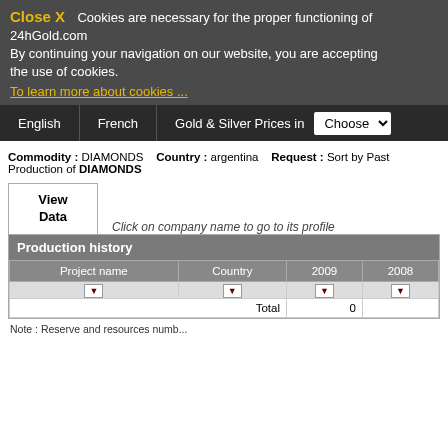Close X  Cookies are necessary for the proper functioning of 24hGold.com By continuing your navigation on our website, you are accepting the use of cookies. To learn more about cookies ...
English  French  Gold & Silver Prices in  Choose
Commodity : DIAMONDS  Country : argentina  Request : Sort by Past Production of DIAMONDS
| Project name | Country | 2009 | 2008 |
| --- | --- | --- | --- |
|  |  |  |  |
| Total | 0 |  |  |
Note : Reserve and resources numb...